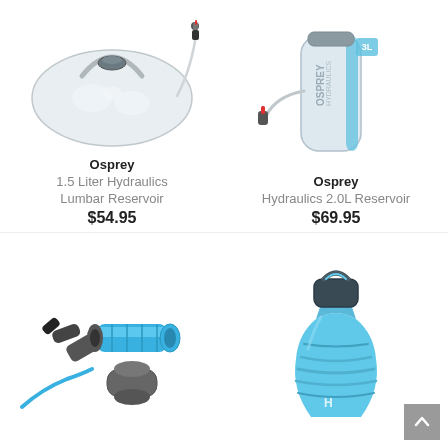[Figure (photo): Osprey 1.5 Liter Hydraulics Lumbar Reservoir - a clear/translucent hydration reservoir with drinking tube and bite valve]
Osprey
1.5 Liter Hydraulics Lumbar Reservoir
$54.95
[Figure (photo): Osprey Hydraulics 2.0L Reservoir - a slim blue and grey hydration reservoir with drinking tube]
Osprey
Hydraulics 2.0L Reservoir
$69.95
[Figure (photo): Hydration system connector parts - blue and grey plastic connectors/valves for hydration pack]
[Figure (photo): Blue collapsible/foldable water bottle, partially collapsed, with dark cap]